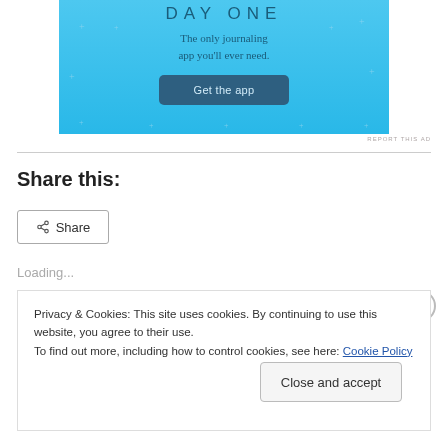[Figure (screenshot): Day One journaling app advertisement banner with light blue background, title 'DAY ONE', subtitle 'The only journaling app you'll ever need.', and a 'Get the app' button]
REPORT THIS AD
Share this:
Share
Loading...
Privacy & Cookies: This site uses cookies. By continuing to use this website, you agree to their use.
To find out more, including how to control cookies, see here: Cookie Policy
Close and accept